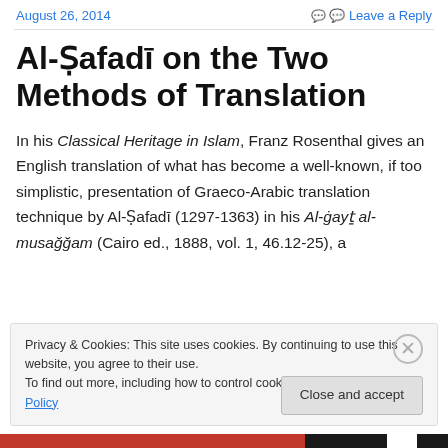August 26, 2014  Leave a Reply
Al-Ṣafadī on the Two Methods of Translation
In his Classical Heritage in Islam, Franz Rosenthal gives an English translation of what has become a well-known, if too simplistic, presentation of Graeco-Arabic translation technique by Al-Ṣafadī (1297-1363) in his Al-ġayṯ al-musağğam (Cairo ed., 1888, vol. 1, 46.12-25), a
Privacy & Cookies: This site uses cookies. By continuing to use this website, you agree to their use.
To find out more, including how to control cookies, see here: Cookie Policy